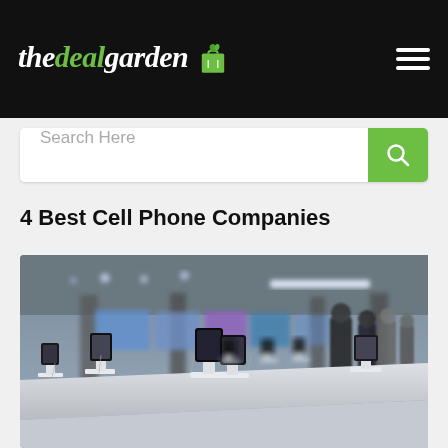thedealgarden
Search Here
4 Best Cell Phone Companies
[Figure (photo): Interior of a cell phone retail store with multiple smartphones displayed on white stands on a long counter, blurred background with people and display screens]